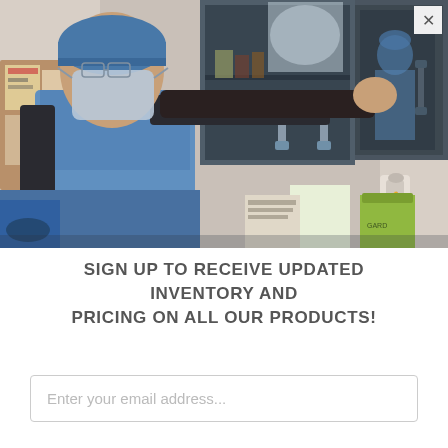[Figure (photo): A healthcare worker wearing blue scrubs, a surgical mask, and a blue surgical cap reaches up to open a gray overhead cabinet in a medical or laboratory setting. The cabinet contains medical supplies. A hand sanitizer dispenser is visible on the wall. A reflection of the worker is visible in the cabinet door glass.]
SIGN UP TO RECEIVE UPDATED INVENTORY AND PRICING ON ALL OUR PRODUCTS!
Enter your email address...